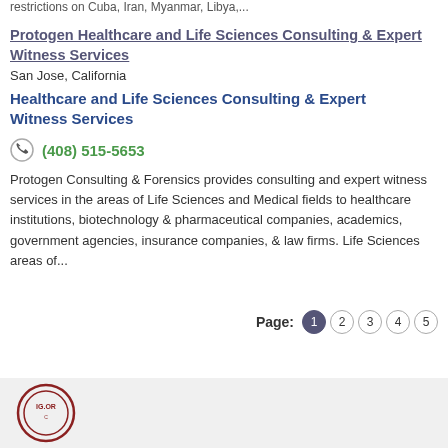restrictions on Cuba, Iran, Myanmar, Libya,...
Protogen Healthcare and Life Sciences Consulting & Expert Witness Services
San Jose, California
Healthcare and Life Sciences Consulting & Expert Witness Services
(408) 515-5653
Protogen Consulting & Forensics provides consulting and expert witness services in the areas of Life Sciences and Medical fields to healthcare institutions, biotechnology & pharmaceutical companies, academics, government agencies, insurance companies, & law firms. Life Sciences areas of...
Page: 1 2 3 4 5
[Figure (logo): IG.ORG logo at the bottom of the page]